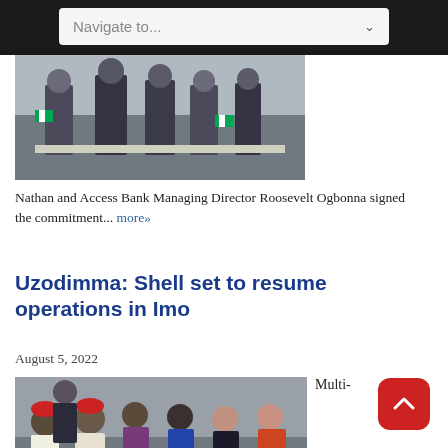Navigate to...
[Figure (photo): Group of people standing at a table with Nigerian flags, signing ceremony]
Nathan and Access Bank Managing Director Roosevelt Ogbonna signed the commitment... more»
Uzodimma: Shell set to resume operations in Imo
August 5, 2022
[Figure (photo): Group photo of several people including officials, some wearing red traditional caps and suits]
Multi-